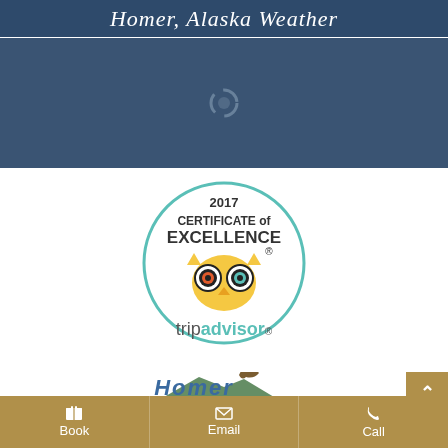Homer, Alaska Weather
[Figure (other): Weather widget loading area with spinner icon on dark blue-gray background]
[Figure (logo): TripAdvisor 2017 Certificate of Excellence badge with owl logo and 'tripadvisor' text]
[Figure (logo): Homer Alaska lodging/tourism logo with eagle and stylized text]
Book   Email   Call